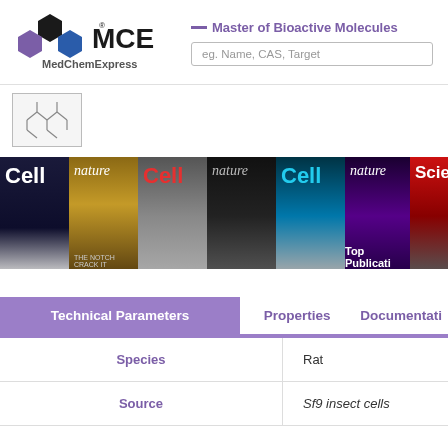[Figure (logo): MCE MedChemExpress logo with hexagonal icon]
— Master of Bioactive Molecules
eg. Name, CAS, Target
[Figure (photo): Thumbnail image of a molecular structure or compound]
[Figure (photo): Strip of journal cover images: Cell, nature, Cell, nature, Cell, nature, Science with Top Publications label]
| Technical Parameters | Properties | Documentation |
| --- | --- | --- |
| Species | Rat |  |
| Source | Sf9 insect cells |  |